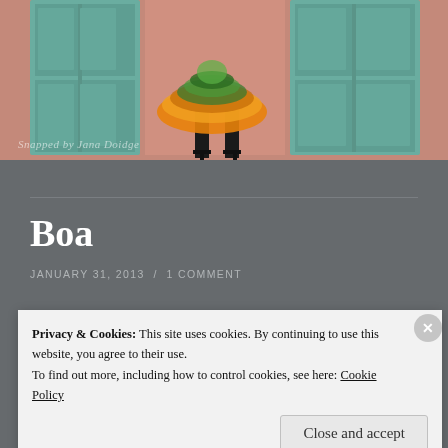[Figure (photo): Photo showing the lower portion of a person wearing a colorful orange and green tulle skirt with black high-heeled boots, standing in front of teal/green shuttered doors on a salmon/pink building.]
Snapped by Jana Doidge
Boa
JANUARY 31, 2013 / 1 COMMENT
A tulle boa for Mardi Gras.
Privacy & Cookies: This site uses cookies. By continuing to use this website, you agree to their use.
To find out more, including how to control cookies, see here: Cookie Policy
Close and accept